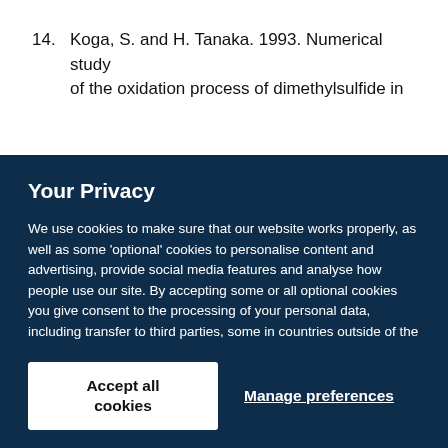14. Koga, S. and H. Tanaka. 1993. Numerical study of the oxidation process of dimethylsulfide in
Your Privacy
We use cookies to make sure that our website works properly, as well as some 'optional' cookies to personalise content and advertising, provide social media features and analyse how people use our site. By accepting some or all optional cookies you give consent to the processing of your personal data, including transfer to third parties, some in countries outside of the European Economic Area that do not offer the same data protection standards as the country where you live. You can decide which optional cookies to accept by clicking on 'Manage Settings', where you can also find more information about how your personal data is processed. Further information can be found in our privacy policy.
Accept all cookies
Manage preferences